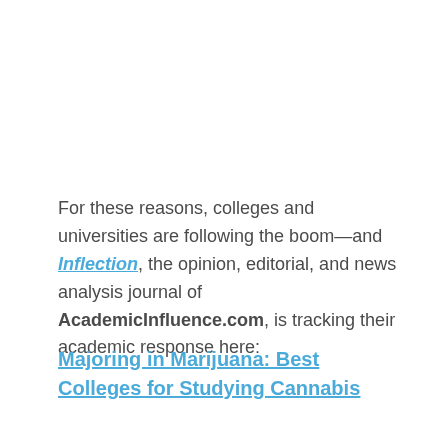For these reasons, colleges and universities are following the boom—and Inflection, the opinion, editorial, and news analysis journal of AcademicInfluence.com, is tracking their academic response here:
Majoring in Marijuana: Best Colleges for Studying Cannabis